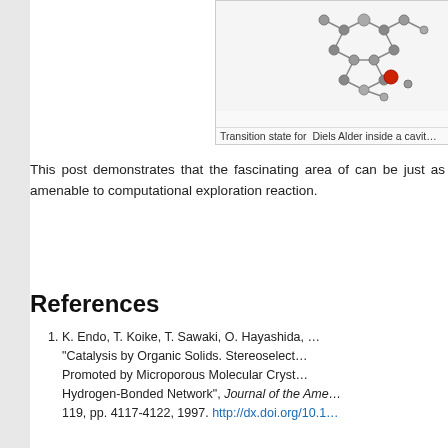[Figure (illustration): Molecular structure diagram showing transition state for Diels Alder reaction inside a cavity, with grey and red atoms connected by bonds]
Transition state for  Diels Alder inside a cavit…
This post demonstrates that the fascinating area of can be just as amenable to computational exploration reaction.
References
K. Endo, T. Koike, T. Sawaki, O. Hayashida, … "Catalysis by Organic Solids. Stereoselect… Promoted by Microporous Molecular Cryst… Hydrogen-Bonded Network", Journal of the Ame… 119, pp. 4117-4122, 1997. http://dx.doi.org/10.1…
Share this:
Tags: animation, catalysis, free energy, free energy… chemistry, Organic scaffold, pericyclic